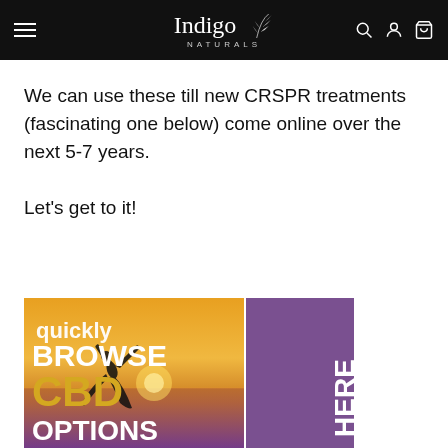Indigo Naturals — navigation bar with hamburger menu, logo, search, account, cart icons
We can use these till new CRSPR treatments (fascinating one below) come online over the next 5-7 years.
Let's get to it!
[Figure (illustration): Promotional banner showing a silhouette of a person doing a yoga pose on a beach at sunset, with text 'quickly BROWSE CBD OPTIONS HERE']